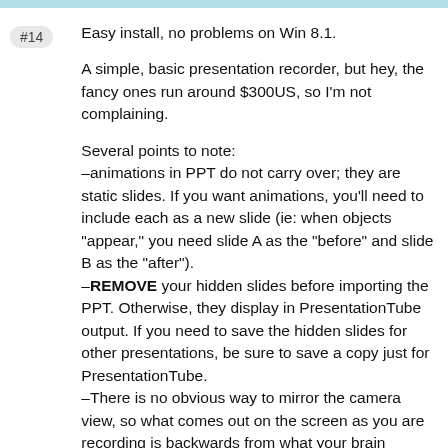#14
Easy install, no problems on Win 8.1.

A simple, basic presentation recorder, but hey, the fancy ones run around $300US, so I'm not complaining.

Several points to note:
–animations in PPT do not carry over; they are static slides. If you want animations, you'll need to include each as a new slide (ie: when objects "appear," you need slide A as the "before" and slide B as the "after").
–REMOVE your hidden slides before importing the PPT. Otherwise, they display in PresentationTube output. If you need to save the hidden slides for other presentations, be sure to save a copy just for PresentationTube.
–There is no obvious way to mirror the camera view, so what comes out on the screen as you are recording is backwards from what your brain expects. Know this ahead of time so you don't look puzzled while you record.
–My first attempts resulted in a funky little cartoon